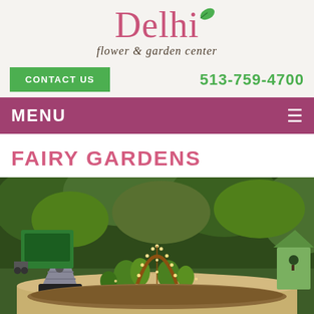[Figure (logo): Delhi Flower & Garden Center logo with pink text and green leaf icon]
CONTACT US
513-759-4700
MENU
FAIRY GARDENS
[Figure (photo): Fairy garden display with miniature arch, small plants, decorative metal cone house, and twinkling lights in a round planter, with green nursery background]